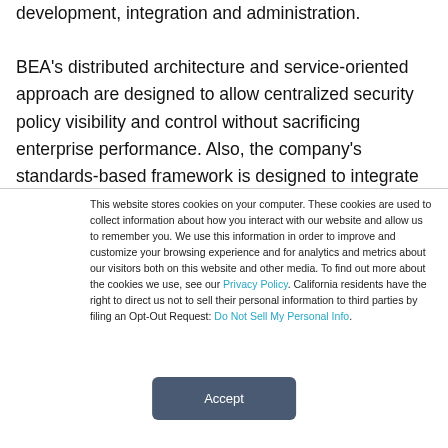development, integration and administration. BEA's distributed architecture and service-oriented approach are designed to allow centralized security policy visibility and control without sacrificing enterprise performance. Also, the company's standards-based framework is designed to integrate into diverse IT environments as well as existing third-party security products.
This website stores cookies on your computer. These cookies are used to collect information about how you interact with our website and allow us to remember you. We use this information in order to improve and customize your browsing experience and for analytics and metrics about our visitors both on this website and other media. To find out more about the cookies we use, see our Privacy Policy. California residents have the right to direct us not to sell their personal information to third parties by filing an Opt-Out Request: Do Not Sell My Personal Info.